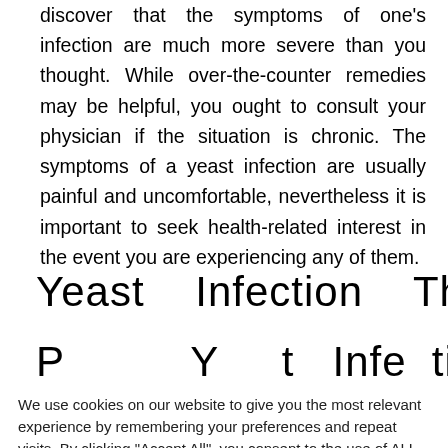discover that the symptoms of one's infection are much more severe than you thought. While over-the-counter remedies may be helpful, you ought to consult your physician if the situation is chronic. The symptoms of a yeast infection are usually painful and uncomfortable, nevertheless it is important to seek health-related interest in the event you are experiencing any of them.
Yeast   Infection   Therapy  –
P          Y      t   I f  ti
We use cookies on our website to give you the most relevant experience by remembering your preferences and repeat visits. By clicking "Accept All", you consent to the use of ALL the cookies. However, you may visit "Cookie Settings" to provide a controlled consent.